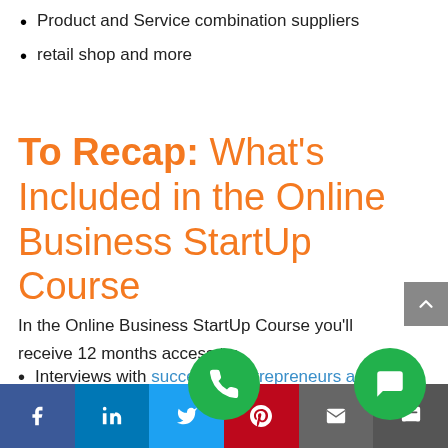Product and Service combination suppliers
retail shop and more
To Recap: What's Included in the Online Business StartUp Course
In the Online Business StartUp Course you'll receive 12 months access to:
Interviews with successful entrepreneurs and business own…